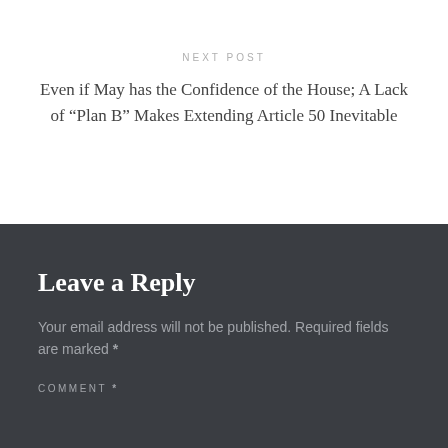NEXT POST
Even if May has the Confidence of the House; A Lack of “Plan B” Makes Extending Article 50 Inevitable
Leave a Reply
Your email address will not be published. Required fields are marked *
COMMENT *